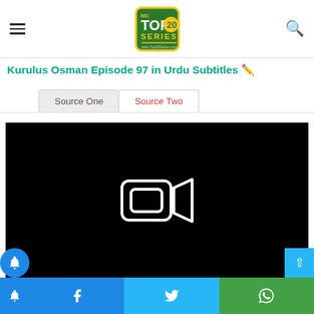Top20Series website header with hamburger menu, logo, and search icon
Kurulus Osman Episode 97 in Urdu Subtitles 🖊️
Source One | Source Two (tabs)
[Figure (screenshot): Black video player area with a video camera icon (play/video placeholder) in the center]
Social share bar: Bell, Facebook, Twitter, WhatsApp